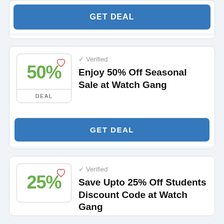[Figure (screenshot): GET DEAL button (blue) at top of page, partial card]
[Figure (screenshot): Deal card: 50% off badge with heart icon, Verified label, title: Enjoy 50% Off Seasonal Sale at Watch Gang, GET DEAL button]
[Figure (screenshot): Deal card (partial): 25% off badge with heart icon, Verified label, title: Save Upto 25% Off Students Discount Code at Watch Gang]